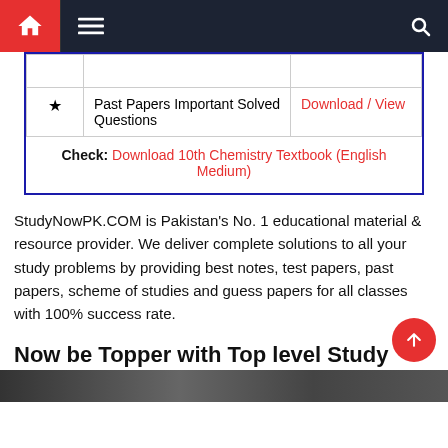Navigation bar with home, menu, and search icons
| ★ | Past Papers Important Solved Questions | Download / View |
Check: Download 10th Chemistry Textbook (English Medium)
StudyNowPK.COM is Pakistan's No. 1 educational material & resource provider. We deliver complete solutions to all your study problems by providing best notes, test papers, past papers, scheme of studies and guess papers for all classes with 100% success rate.
Now be Topper with Top level Study Material for 10th Class